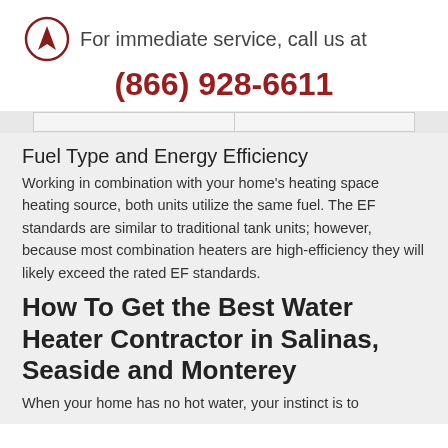For immediate service, call us at (866) 928-6611
Fuel Type and Energy Efficiency
Working in combination with your home’s heating space heating source, both units utilize the same fuel. The EF standards are similar to traditional tank units; however, because most combination heaters are high-efficiency they will likely exceed the rated EF standards.
How To Get the Best Water Heater Contractor in Salinas, Seaside and Monterey
When your home has no hot water, your instinct is to